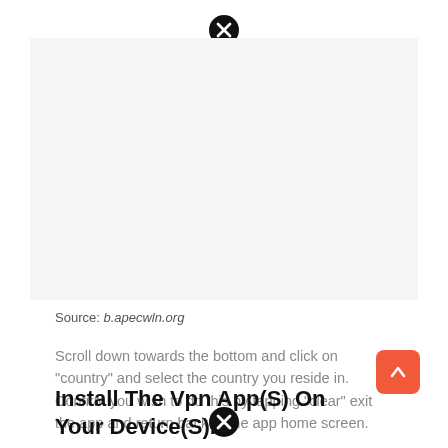[Figure (other): Close (X) icon at top center of page]
[Figure (screenshot): Large white/gray blank area representing a screenshot or image placeholder]
Source: b.apecwln.org
Scroll down towards the bottom and click on “country” and select the country you reside in. Confirm you wish to do this by tapping “clear” exit the app and return back to the app home screen.
Install The Vpn App(S) On Your Device(S).
[Figure (other): Close (X) icon at bottom center of page]